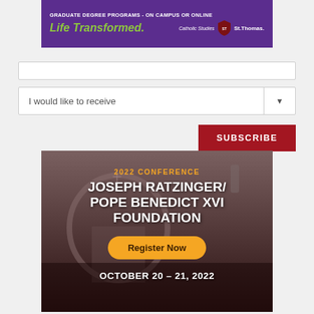[Figure (infographic): Purple advertisement banner for University of St. Thomas Catholic Studies graduate degree programs. Text reads: GRADUATE DEGREE PROGRAMS - ON CAMPUS OR ONLINE / Life Transformed. / Catholic Studies | St. Thomas logo]
I would like to receive
SUBSCRIBE
[Figure (infographic): 2022 Conference banner for Joseph Ratzinger/Pope Benedict XVI Foundation with background image of St. Peter's Basilica dome. Includes orange text '2022 CONFERENCE', white bold text 'JOSEPH RATZINGER/ POPE BENEDICT XVI FOUNDATION', orange pill button 'Register Now', and white bold text 'OCTOBER 20 - 21, 2022']